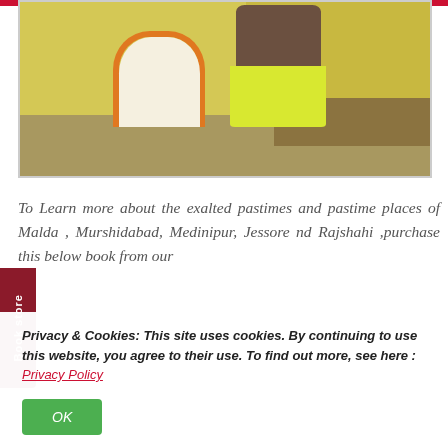[Figure (photo): Two people standing outdoors near a yellow wall — a woman in a white and orange saree and a man in a patterned shirt and yellow dhoti/lungi]
To Learn more about the exalted pastimes and pastime places of Malda , Murshidabad, Medinipur, Jessore nd Rajshahi ,purchase this below book from our
Privacy & Cookies: This site uses cookies. By continuing to use this website, you agree to their use. To find out more, see here : Privacy Policy
OK